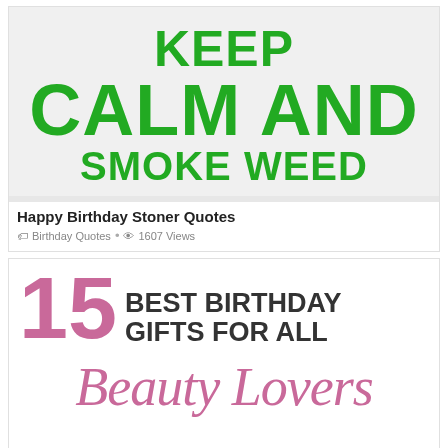[Figure (illustration): Keep Calm and Smoke Weed graphic with green bold text on light gray background]
Happy Birthday Stoner Quotes
🏷 Birthday Quotes • 👁 1607 Views
[Figure (illustration): 15 Best Birthday Gifts For All Beauty Lovers - pink and dark text on white background with script font]